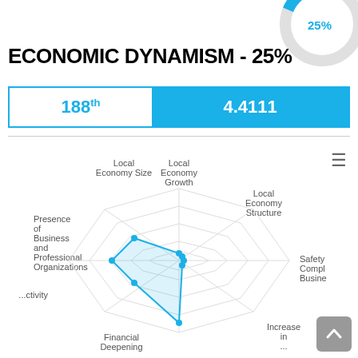[Figure (donut-chart): Economic Dynamism 25%]
ECONOMIC DYNAMISM - 25%
| Rank | Score |
| --- | --- |
| 188th | 4.4111 |
[Figure (radar-chart): Radar chart showing dimensions: Local Economy Size, Local Economy Growth, Local Economy Structure, Safety Compliance Business, Increase in ..., Financial Deepening, Productivity, Presence of Business and Professional Organizations. Data plotted near center indicating low scores.]